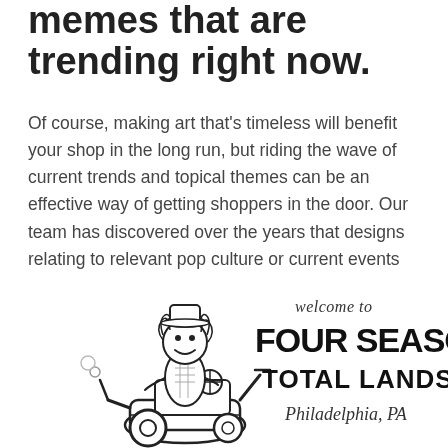memes that are trending right now.
Of course, making art that's timeless will benefit your shop in the long run, but riding the wave of current trends and topical themes can be an effective way of getting shoppers in the door. Our team has discovered over the years that designs relating to relevant pop culture or current events tend to sell really well.
[Figure (illustration): Black and white illustration of a person riding a lawn mower with text reading 'welcome to FOUR SEASONS TOTAL LANDSCAPING Philadelphia, PA']